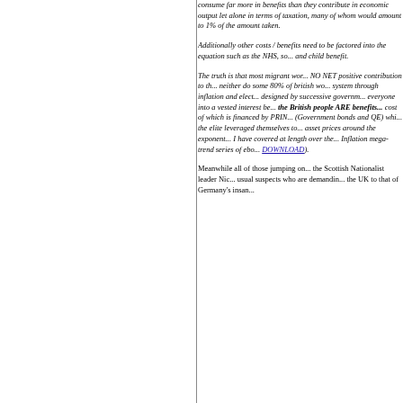consume far more in benefits than they contribute in economic output let alone in terms of taxation, many of whom would amount to 1% of the amount taken.
Additionally other costs / benefits need to be factored into the equation such as the NHS, social housing, tax credits and child benefit.
The truth is that most migrant workers make NO NET positive contribution to the economy, neither do some 80% of british workers. The system through inflation and electoral bribery is designed by successive governments to bring everyone into a vested interest because the British people ARE benefits dependent, the cost of which is financed by PRINTING MONEY (Government bonds and QE) which is what the elite leveraged themselves to pump up asset prices around the exponential trend that I have covered at length over the years in my Inflation mega-trend series of ebooks (FREE DOWNLOAD).
Meanwhile all of those jumping on the band wagon of the Scottish Nationalist leader Nic... usual suspects who are demanding... the UK to that of Germany's insa...